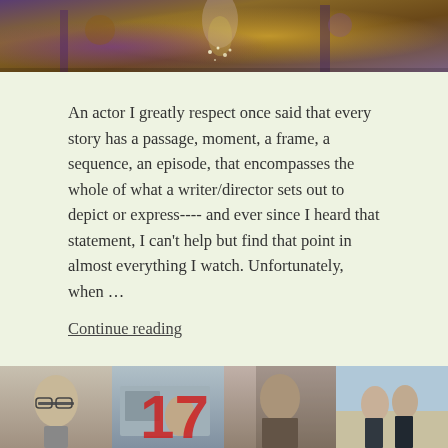[Figure (photo): Top portion of a photo showing people at what appears to be a formal/awards event with purple and gold decorations, a woman in a sparkly dress visible in the center.]
An actor I greatly respect once said that every story has a passage, moment, a frame, a sequence, an episode, that encompasses the whole of what a writer/director sets out to depict or express---- and ever since I heard that statement, I can't help but find that point in almost everything I watch. Unfortunately, when …
Continue reading
DECEMBER 25, 2013
The Distractors' Cut: Heirs 17
[Figure (photo): A collage of four images from the Korean drama 'Heirs' episode 17, showing various characters including a man with glasses, people at a cafe, a woman looking serious, and a couple at a beach.]